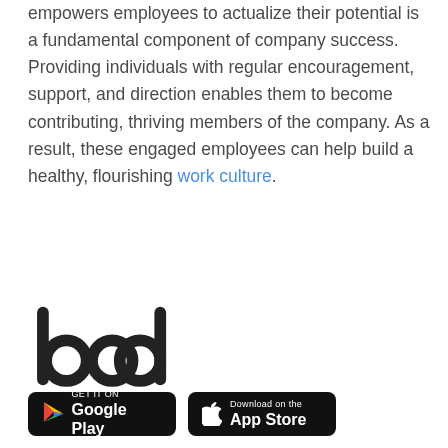empowers employees to actualize their potential is a fundamental component of company success. Providing individuals with regular encouragement, support, and direction enables them to become contributing, thriving members of the company. As a result, these engaged employees can help build a healthy, flourishing work culture.
[Figure (logo): bob logo — wordmark in dark gray/black lowercase letters]
[Figure (other): Google Play and App Store download buttons]